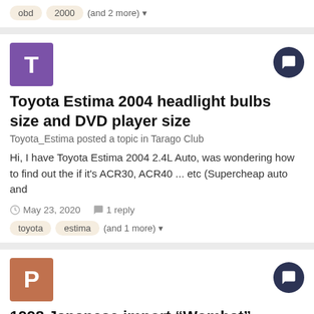obd  2000  (and 2 more)
Toyota Estima 2004 headlight bulbs size and DVD player size
Toyota_Estima posted a topic in Tarago Club
Hi, I have Toyota Estima 2004 2.4L Auto, was wondering how to find out the if it's ACR30, ACR40 ... etc (Supercheap auto and
May 23, 2020   1 reply
toyota  estima  (and 1 more)
1998 Japanese import “Wombat” towbar
PapaStanley posted a topic in Tarago Club